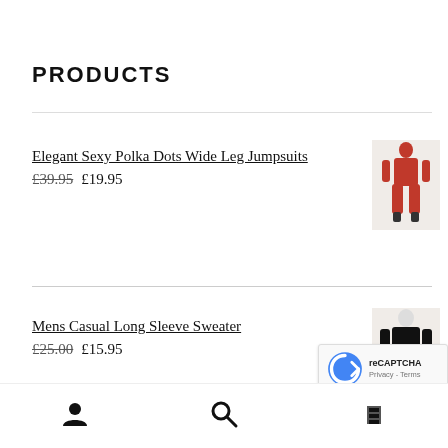PRODUCTS
Elegant Sexy Polka Dots Wide Leg Jumpsuits £39.95 £19.95
Mens Casual Long Sleeve Sweater £25.00 £15.95
Long Sleeve Denim Coat Jean Jacket
[Figure (screenshot): reCAPTCHA badge with Privacy and Terms links]
User icon | Search icon | Cart icon